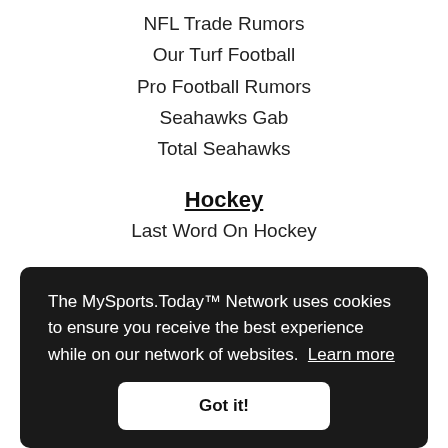NFL Trade Rumors
Our Turf Football
Pro Football Rumors
Seahawks Gab
Total Seahawks
Hockey
Last Word On Hockey
Soccer
Last Word on Soccer - Sounders
Last Word on Soccer - Seattle
MLS Multiplex
Sounder At Heart
Colleges
Busting Brackets
College Football News
The MySports.Today™ Network uses cookies to ensure you receive the best experience while on our network of websites. Learn more